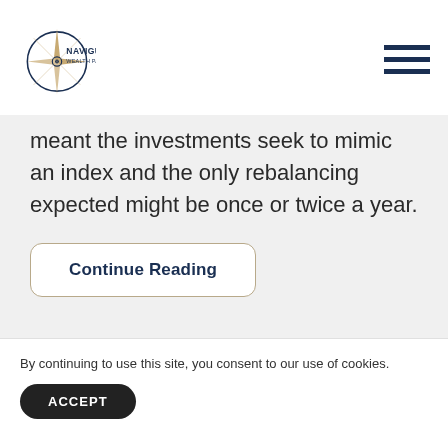NaviGuide Wealth Partners, Inc.
meant the investments seek to mimic an index and the only rebalancing expected might be once or twice a year.
Continue Reading
By continuing to use this site, you consent to our use of cookies.
ACCEPT